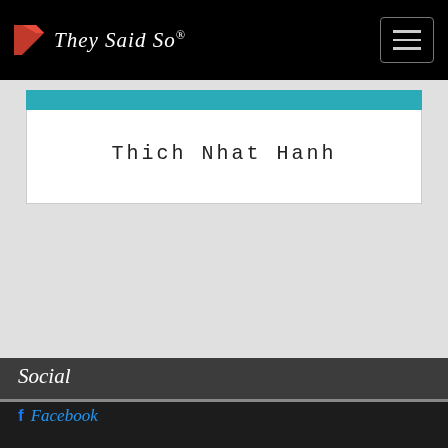They Said So®
Thich Nhat Hanh
Social
Facebook